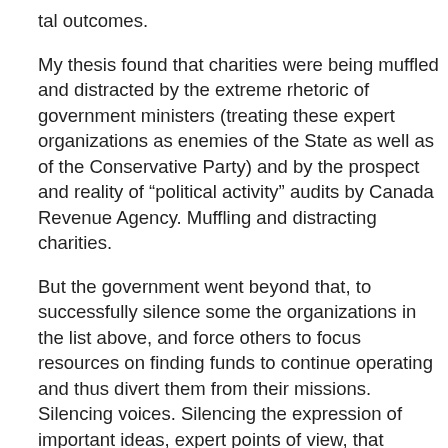tal outcomes.
My thesis found that charities were being muffled and distracted by the extreme rhetoric of government ministers (treating these expert organizations as enemies of the State as well as of the Conservative Party) and by the prospect and reality of “political activity” audits by Canada Revenue Agency. Muffling and distracting charities.
But the government went beyond that, to successfully silence some the organizations in the list above, and force others to focus resources on finding funds to continue operating and thus divert them from their missions. Silencing voices. Silencing the expression of important ideas, expert points of view, that happened to